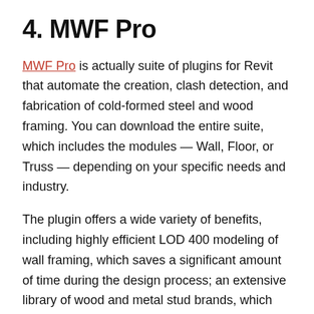4. MWF Pro
MWF Pro is actually suite of plugins for Revit that automate the creation, clash detection, and fabrication of cold-formed steel and wood framing. You can download the entire suite, which includes the modules — Wall, Floor, or Truss — depending on your specific needs and industry.
The plugin offers a wide variety of benefits, including highly efficient LOD 400 modeling of wall framing, which saves a significant amount of time during the design process; an extensive library of wood and metal stud brands, which fosters a higher degree of accuracy by incorporating real-world product information into the model, among other details.